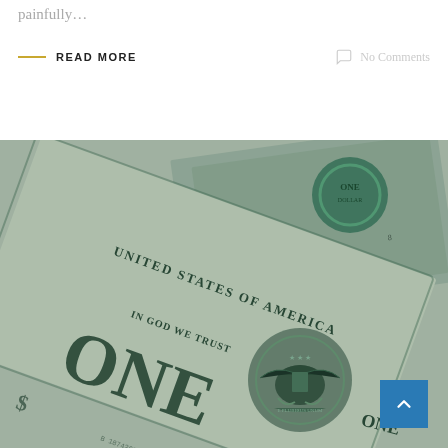painfully…
READ MORE
No Comments
[Figure (photo): Close-up photograph of US dollar bills, prominently showing a one dollar bill with 'UNITED STATES OF AMERICA', 'IN GOD WE TRUST', and 'ONE' text visible, along with the Great Seal eagle emblem. The image has a desaturated teal/green tone. A scroll-to-top button with an upward chevron arrow is overlaid in the bottom right corner.]